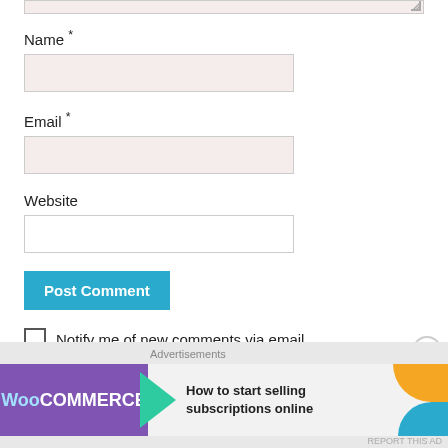Name *
Email *
Website
Post Comment
Notify me of new comments via email.
Notify me of new posts via email.
Advertisements
[Figure (screenshot): WooCommerce advertisement banner with text 'How to start selling subscriptions online']